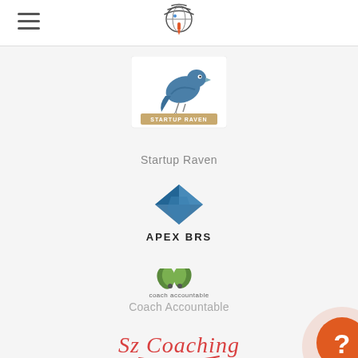[Figure (logo): Hamburger menu icon (three horizontal lines) on the left side of the header]
[Figure (logo): Podcast/broadcasting website logo in header: globe with wifi signal and red tie figure]
[Figure (logo): Startup Raven logo: blue raven bird with banner text 'STARTUP RAVEN' on white card background]
Startup Raven
[Figure (logo): Apex BRS logo: blue abstract diamond/gem shape with text 'APEX BRS' below]
[Figure (logo): Coach Accountable logo: two leaf/sprout icons above text 'coach accountable']
Coach Accountable
[Figure (logo): Sz Coaching logo: red cursive script text 'Sz Coaching' with underline]
[Figure (logo): ClickFunnels logo: red/white icon with text 'click funnels']
[Figure (illustration): Orange circular help/chat button with white question mark, in bottom right corner, with light pink shadow circle behind it]